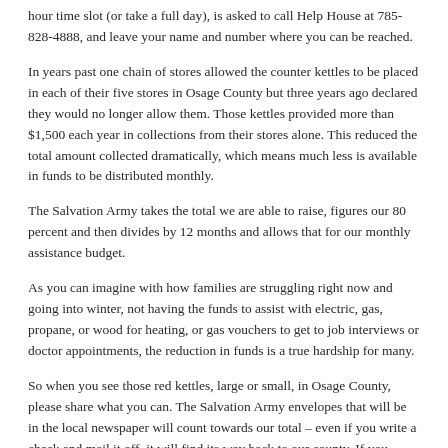hour time slot (or take a full day), is asked to call Help House at 785-828-4888, and leave your name and number where you can be reached.
In years past one chain of stores allowed the counter kettles to be placed in each of their five stores in Osage County but three years ago declared they would no longer allow them. Those kettles provided more than $1,500 each year in collections from their stores alone. This reduced the total amount collected dramatically, which means much less is available in funds to be distributed monthly.
The Salvation Army takes the total we are able to raise, figures our 80 percent and then divides by 12 months and allows that for our monthly assistance budget.
As you can imagine with how families are struggling right now and going into winter, not having the funds to assist with electric, gas, propane, or wood for heating, or gas vouchers to get to job interviews or doctor appointments, the reduction in funds is a true hardship for many.
So when you see those red kettles, large or small, in Osage County, please share what you can. The Salvation Army envelopes that will be in the local newspaper will count towards our total – even if you write a check and mail it off, it will find its way back to our county. If you donate out of this county it stays there not here.
If you can help out by ringing those bells for an hour or two throughout the season, we need help there, too. If you would like to donate to the Help House utility fund